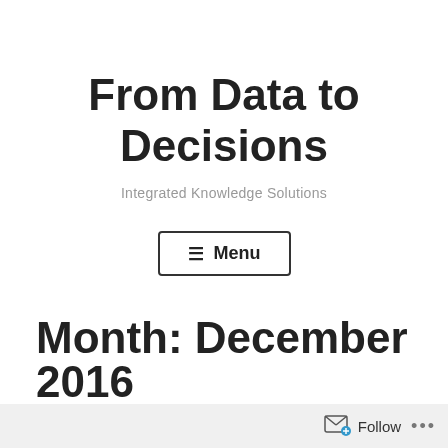From Data to Decisions
Integrated Knowledge Solutions
≡ Menu
Month: December 2016
Follow •••